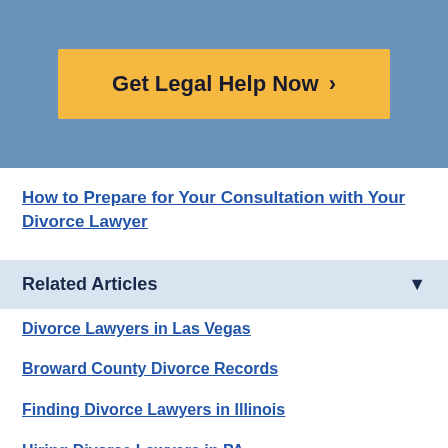[Figure (other): Blue banner background with orange 'Get Legal Help Now >' call-to-action button]
How to Prepare for Your Consultation with Your Divorce Lawyer
Related Articles
Divorce Lawyers in Las Vegas
Broward County Divorce Records
Finding Divorce Lawyers in Illinois
Hiring Divorce Lawyers in PA
Divorce Lawyers in Maryland
Finding Divorce Lawyers in Utah
Divorce Lawyers in Miami, Florida